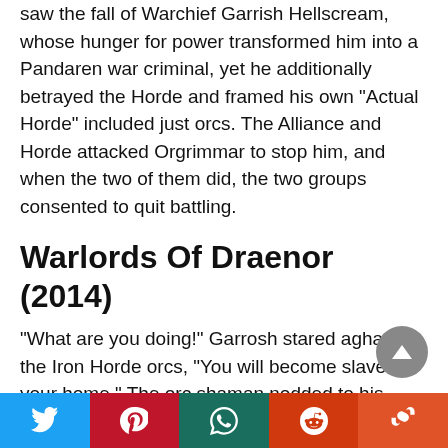saw the fall of Warchief Garrish Hellscream, whose hunger for power transformed him into a Pandaren war criminal, yet he additionally betrayed the Horde and framed his own “Actual Horde” included just orcs. The Alliance and Horde attacked Orgrimmar to stop him, and when the two of them did, the two groups consented to quit battling.
Warlords Of Draenor (2014)
“What are you doing!” Garrosh stared aghast at the Iron Horde orcs, “You will become slaves in your home.” The orc shaman nodded to his words solemnly. This new Iron Horde overcomes Draenor
[Figure (other): Social media share bar with Twitter, Pinterest, WhatsApp, Reddit, and StumbleUpon buttons]